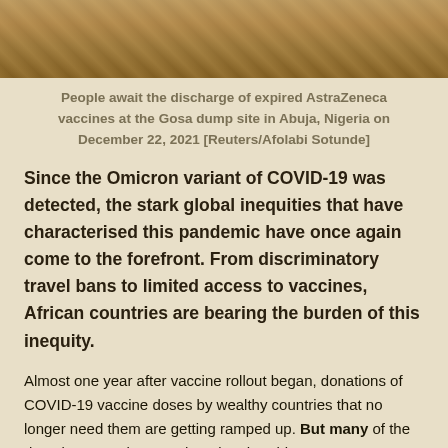[Figure (photo): A photo of people at the Gosa dump site in Abuja, Nigeria, awaiting the discharge of expired AstraZeneca vaccines. Sandy ground and garbage visible.]
People await the discharge of expired AstraZeneca vaccines at the Gosa dump site in Abuja, Nigeria on December 22, 2021 [Reuters/Afolabi Sotunde]
Since the Omicron variant of COVID-19 was detected, the stark global inequities that have characterised this pandemic have once again come to the forefront. From discriminatory travel bans to limited access to vaccines, African countries are bearing the burden of this inequity.
Almost one year after vaccine rollout began, donations of COVID-19 vaccine doses by wealthy countries that no longer need them are getting ramped up. But many of the donations are short on changing the This